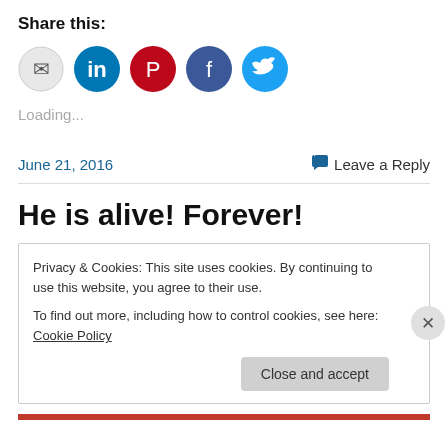Share this:
[Figure (infographic): Row of social sharing icon circles: email (gray), LinkedIn (blue), Pinterest (red), Facebook (blue), Twitter (light blue)]
Loading...
June 21, 2016    💬 Leave a Reply
He is alive! Forever!
Privacy & Cookies: This site uses cookies. By continuing to use this website, you agree to their use.
To find out more, including how to control cookies, see here: Cookie Policy
Close and accept